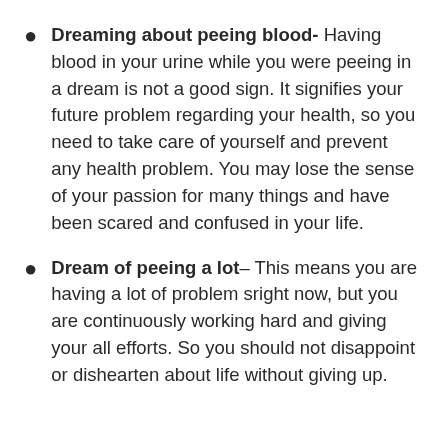Dreaming about peeing blood- Having blood in your urine while you were peeing in a dream is not a good sign. It signifies your future problem regarding your health, so you need to take care of yourself and prevent any health problem. You may lose the sense of your passion for many things and have been scared and confused in your life.
Dream of peeing a lot– This means you are having a lot of problem sright now, but you are continuously working hard and giving your all efforts. So you should not disappoint or dishearten about life without giving up.